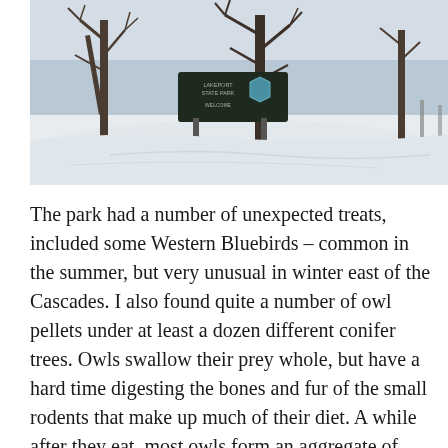[Figure (photo): Winter photo of Lakeport State Park entrance. A snow-covered landscape with bare deciduous trees in the foreground and background. A dark wooden park sign reading 'LAKEPORT STATE PARK WELCOME' with a shield/badge emblem is visible in the center. The scene shows a snow-blanketed ground and a frozen or snow-covered lake or open area in the background. Fence posts are visible on the right side.]
The park had a number of unexpected treats, included some Western Bluebirds – common in the summer, but very unusual in winter east of the Cascades.  I also found quite a number of owl pellets under at least a dozen different conifer trees.  Owls swallow their prey whole, but have a hard time digesting the bones and fur of the small rodents that make up much of their diet.  A while after they eat, most owls form an aggregate of indigestible material and cough it back up.  These owl pellets provide an excellent record of what owls eat, and can be a good clue